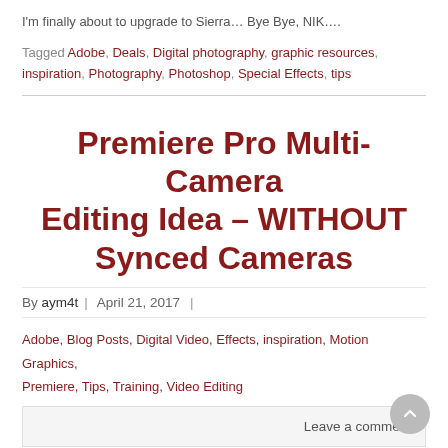I'm finally about to upgrade to Sierra… Bye Bye, NIK….
Tagged Adobe, Deals, Digital photography, graphic resources, inspiration, Photography, Photoshop, Special Effects, tips
Premiere Pro Multi-Camera Editing Idea – WITHOUT Synced Cameras
By aym4t | April 21, 2017 |
Adobe, Blog Posts, Digital Video, Effects, inspiration, Motion Graphics, Premiere, Tips, Training, Video Editing
Leave a comment
For my Premiere students…
In our Advanced classes, we learn to edit a Multicamera sequence.